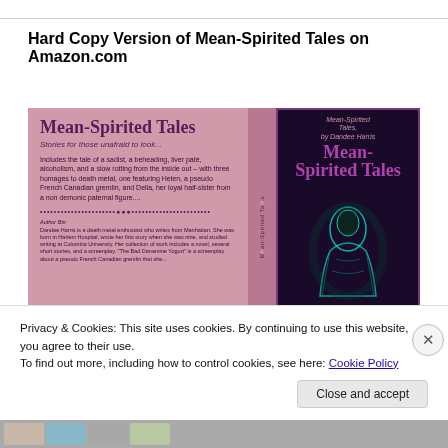Hard Copy Version of Mean-Spirited Tales on Amazon.com
[Figure (illustration): Book spread image on pink background showing the front cover and back cover/spine of 'Mean-Spirited Tales'. Left panel shows back cover with title, tagline 'Stories for those unafraid to look...', description text, dotted divider, and author bio. Middle shows spine. Right shows front cover with dark background, figure illustration, and bold purple title text 'Mean-Spirited Tales'.]
Privacy & Cookies: This site uses cookies. By continuing to use this website, you agree to their use.
To find out more, including how to control cookies, see here: Cookie Policy